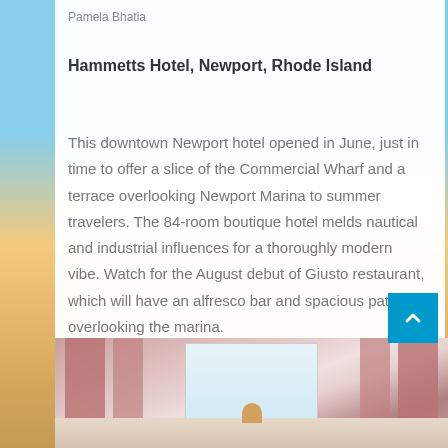Pamela Bhatia
Hammetts Hotel, Newport, Rhode Island
This downtown Newport hotel opened in June, just in time to offer a slice of the Commercial Wharf and a terrace overlooking Newport Marina to summer travelers. The 84-room boutique hotel melds nautical and industrial influences for a thoroughly modern vibe. Watch for the August debut of Giusto restaurant, which will have an alfresco bar and spacious patio overlooking the marina.
[Figure (photo): Interior hotel room photo showing pink/mauve curtains flanking a window, with light walls and warm-toned flooring.]